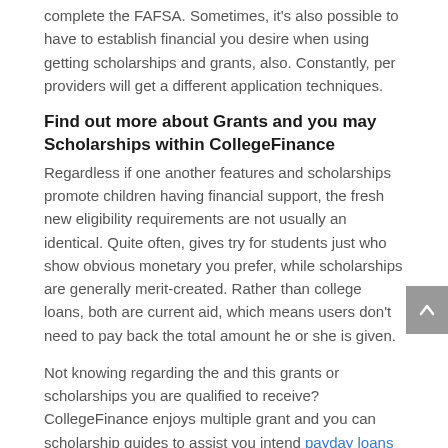complete the FAFSA. Sometimes, it’s also possible to have to establish financial you desire when using getting scholarships and grants, also. Constantly, per providers will get a different application techniques.
Find out more about Grants and you may Scholarships within CollegeFinance
Regardless if one another features and scholarships promote children having financial support, the fresh new eligibility requirements are not usually an identical. Quite often, gives try for students just who show obvious monetary you prefer, while scholarships are generally merit-created. Rather than college loans, both are current aid, which means users don’t need to pay back the total amount he or she is given.
Not knowing regarding the and this grants or scholarships you are qualified to receive? CollegeFinance enjoys multiple grant and you can scholarship guides to assist you intend payday loans